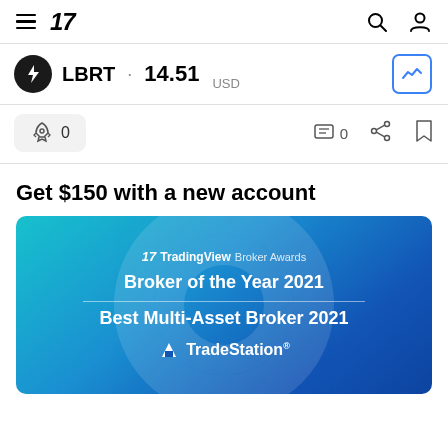TradingView navigation bar with hamburger menu, TradingView logo, search icon, and user icon
LBRT · 14.51 USD
0  0
Get $150 with a new account
[Figure (infographic): TradingView Broker Awards banner showing 'Broker of the Year 2021', 'Best Multi-Asset Broker 2021', and TradeStation logo on a blue gradient background]